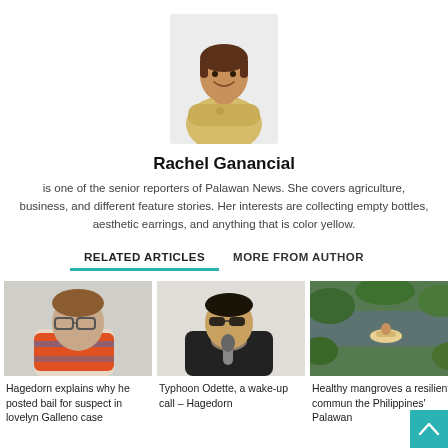[Figure (photo): Headshot photo of Rachel Ganancial, a woman smiling, wearing a yellow polo shirt with arms crossed, white background.]
Rachel Ganancial
is one of the senior reporters of Palawan News. She covers agriculture, business, and different feature stories. Her interests are collecting empty bottles, aesthetic earrings, and anything that is color yellow.
RELATED ARTICLES  MORE FROM AUTHOR
[Figure (photo): Photo of an elderly man with glasses and brownish hair, sitting indoors, wearing an orange and blue striped top.]
Hagedorn explains why he posted bail for suspect in lovelyn Galleno case
[Figure (photo): Photo of a person speaking into a microphone, wearing sunglasses and a dark jacket, indoors.]
Typhoon Odette, a wake-up call – Hagedorn
[Figure (photo): Aerial photo of a boat on water near green mangroves.]
Healthy mangroves a resilient commun the Philippines' Palawan